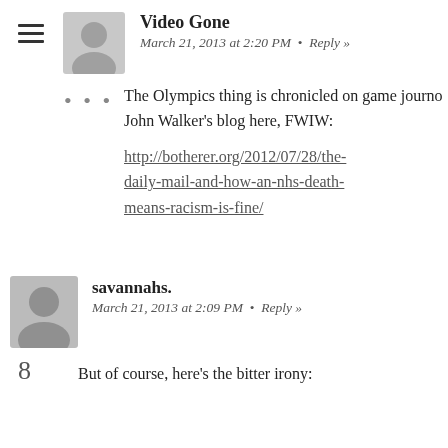Video Gone
March 21, 2013 at 2:20 PM  •  Reply »
The Olympics thing is chronicled on game journo John Walker's blog here, FWIW:
http://botherer.org/2012/07/28/the-daily-mail-and-how-an-nhs-death-means-racism-is-fine/
savannahs.
March 21, 2013 at 2:09 PM  •  Reply »
But of course, here's the bitter irony: